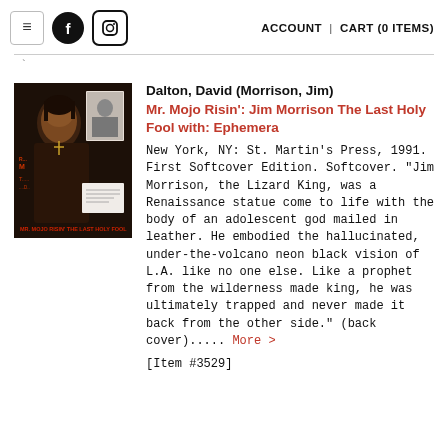≡  f  [instagram]   ACCOUNT  |  CART (0 ITEMS)
[Figure (photo): Book cover of Mr. Mojo Risin': Jim Morrison The Last Holy Fool with Ephemera — dark background with photo of Jim Morrison and smaller inset photos]
Dalton, David (Morrison, Jim)
Mr. Mojo Risin': Jim Morrison The Last Holy Fool with: Ephemera
New York, NY: St. Martin's Press, 1991. First Softcover Edition. Softcover. "Jim Morrison, the Lizard King, was a Renaissance statue come to life with the body of an adolescent god mailed in leather. He embodied the hallucinated, under-the-volcano neon black vision of L.A. like no one else. Like a prophet from the wilderness made king, he was ultimately trapped and never made it back from the other side." (back cover)..... More >
[Item #3529]